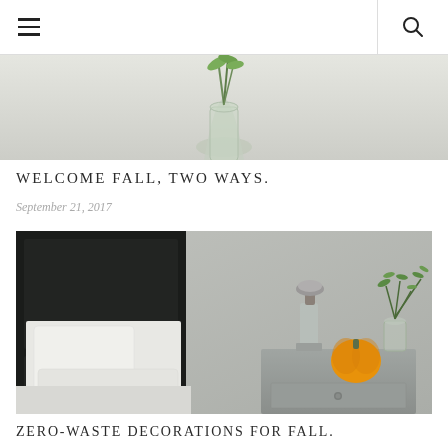Navigation header with hamburger menu and search icon
[Figure (photo): Top portion of a lifestyle/interior photo showing a glass vase with green stems against a light grey wall]
WELCOME FALL, TWO WAYS.
September 21, 2017
[Figure (photo): Bedroom nightstand scene with a black headboard, white pillows, a grey nightstand holding a vintage lamp, small orange pumpkin, and a glass vase with green branches]
ZERO-WASTE DECORATIONS FOR FALL.